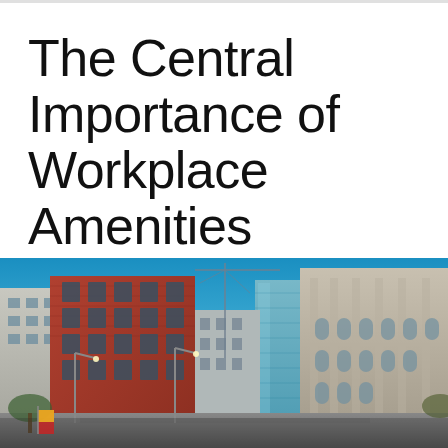The Central Importance of Workplace Amenities Post-COVID
[Figure (photo): Street-level photograph of urban commercial buildings including a prominent red-brick building on the left and modern glass and stone buildings on the right, under a clear blue sky, with construction crane visible in the background.]